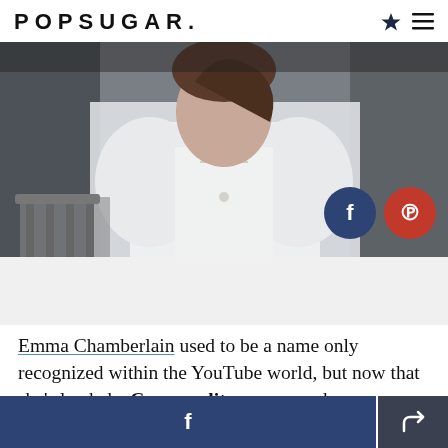POPSUGAR.
[Figure (photo): Photo of Emma Chamberlain wearing a white structured ruffle-shoulder dress with a delicate necklace, at what appears to be a fashion event. Social media sharing buttons (Facebook and Pinterest) overlay the bottom-right of the image.]
Emma Chamberlain used to be a name only recognized within the YouTube world, but now that she's landed a Cosmopolitan cover and a